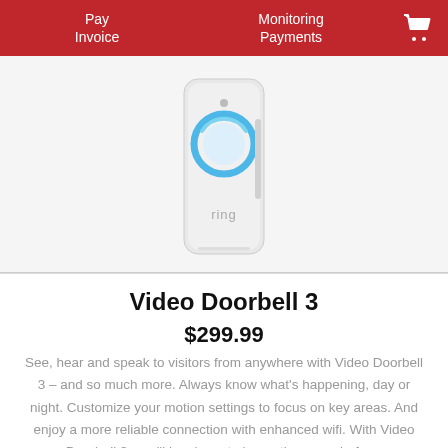Pay Invoice    Monitoring Payments
[Figure (photo): Ring Video Doorbell 3 product photo - white smart doorbell device with blue circle button on front, 'ring' text on lower portion]
Video Doorbell 3
$299.99
See, hear and speak to visitors from anywhere with Video Doorbell 3 – and so much more. Always know what's happening, day or night. Customize your motion settings to focus on key areas. And enjoy a more reliable connection with enhanced wifi. With Video Doorbell 3, you'll be closer to home than ever before.